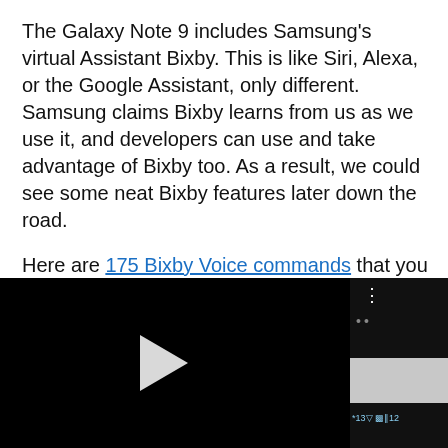The Galaxy Note 9 includes Samsung's virtual Assistant Bixby. This is like Siri, Alexa, or the Google Assistant, only different. Samsung claims Bixby learns from us as we use it, and developers can use and take advantage of Bixby too. As a result, we could see some neat Bixby features later down the road.
Here are 175 Bixby Voice commands that you can use to control your Galaxy Note 9 with just your voice. It does a lot more than the Google Assistant if you ask right, so try it today
[Figure (screenshot): A partially visible video player with a black background, a white play button triangle on the left, and an overlay panel on the right showing a dark interface with dots menu, a white/grey bar, and a status bar with signal icons.]